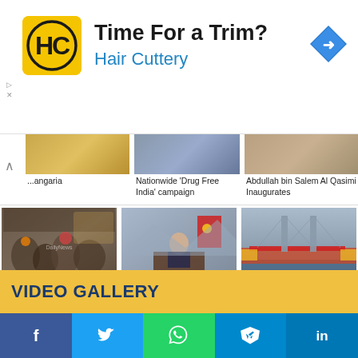[Figure (screenshot): Ad banner: Hair Cuttery advertisement with logo, 'Time For a Trim?' headline and blue subtitle, navigation arrow icon on right]
[Figure (screenshot): Partial news thumbnail row showing three images with captions: '...angaria', 'Nationwide Drug Free India campaign', 'Abdullah bin Salem Al Qasimi Inaugurates']
[Figure (photo): Photo of Jai Ram Thakur with group of people in traditional dress]
Jai Ram Thakur
[Figure (photo): Photo of Xi Jinping at podium with Chinese Communist Party flag]
Xi Jinping
[Figure (photo): Aerial photo of Sardar Sarovar Dam with red carpet and dignitaries]
Sardar Sarovar Dam
VIDEO GALLERY
[Figure (screenshot): Social media share bar with Facebook, Twitter, WhatsApp, Telegram, LinkedIn buttons]